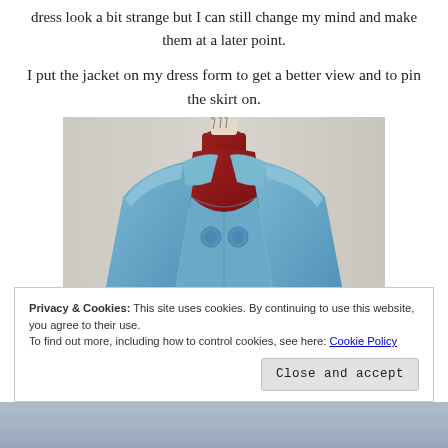dress look a bit strange but I can still change my mind and make them at a later point.
I put the jacket on my dress form to get a better view and to pin the skirt on.
[Figure (photo): A blue jacket/coat on a red dress form mannequin, with pins at the collar area, photographed against a light grey background.]
Privacy & Cookies: This site uses cookies. By continuing to use this website, you agree to their use.
To find out more, including how to control cookies, see here: Cookie Policy
Close and accept